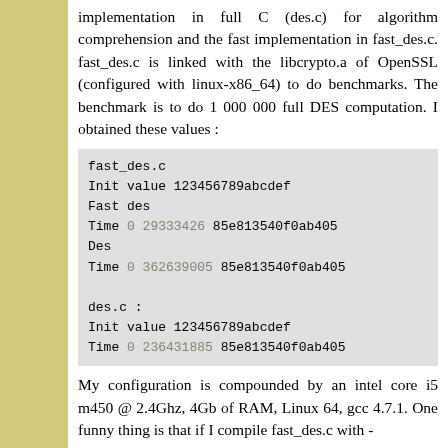implementation in full C (des.c) for algorithm comprehension and the fast implementation in fast_des.c. fast_des.c is linked with the libcrypto.a of OpenSSL (configured with linux-x86_64) to do benchmarks. The benchmark is to do 1 000 000 full DES computation. I obtained these values :
fast_des.c
Init value 123456789abcdef
Fast des
Time 0 29333426 85e813540f0ab405
Des
Time 0 362639005 85e813540f0ab405

des.c :
Init value 123456789abcdef
Time 0 236431885 85e813540f0ab405
My configuration is compounded by an intel core i5 m450 @ 2.4Ghz, 4Gb of RAM, Linux 64, gcc 4.7.1. One funny thing is that if I compile fast_des.c with -